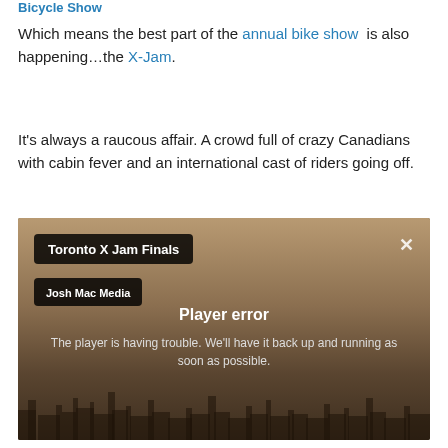Bicycle Show
Which means the best part of the annual bike show is also happening…the X-Jam.
It's always a raucous affair. A crowd full of crazy Canadians with cabin fever and an international cast of riders going off.
[Figure (screenshot): Embedded video player showing 'Toronto X Jam Finals' by Josh Mac Media with a player error message: 'The player is having trouble. We'll have it back up and running as soon as possible.' Background shows a city skyline at dusk.]